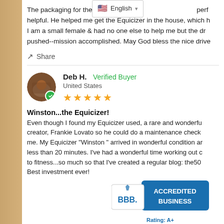The packaging for the Equicizer perf helpful. He helped me get the Equicizer in the house, which h I am a small female & had no one else to help me but the dr pushed--mission accomplished. May God bless the nice drive
Share
Deb H.  Verified Buyer
United States
Winston...the Equicizer!
Even though I found my Equicizer used, a rare and wonderful creator, Frankie Lovato so he could do a maintenance check me. My Equicizer "Winston " arrived in wonderful condition ar less than 20 minutes. I've had a wonderful time working out c to fitness...so much so that I've created a regular blog: the50 Best investment ever!
[Figure (logo): BBB Accredited Business logo with Rating: A+]